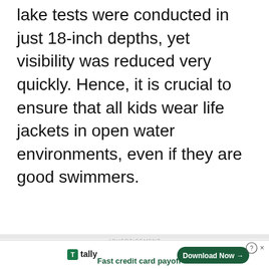lake tests were conducted in just 18-inch depths, yet visibility was reduced very quickly. Hence, it is crucial to ensure that all kids wear life jackets in open water environments, even if they are good swimmers.
ADVERTISEMENT
[Figure (illustration): Advertisement for 'The Rebound' — dark wood background with green tropical plant leaves. Large white bold text reads 'The Rebound'. Below in green text: 'RELIEVE. RESPOND. REVIVE.' Below that in white text: 'WORKING TOWARD FINANCIAL RECOVERY']
[Figure (screenshot): Tally app advertisement banner. White background with Tally logo (green square icon with 'T' and 'tally' text). Bold dark text: 'Fast credit card payoff'. Green button on right with text 'Download Now' and arrow. Small help and close icons top right.]